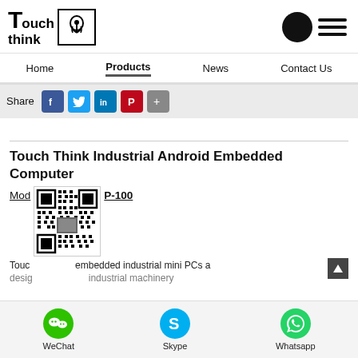[Figure (logo): Touch Think company logo with stylized T and hand/touch icon in a box]
Navigation menu: Home | Products | News | Contact Us
Share [Facebook] [Twitter] [LinkedIn] [Pinterest] [+]
Touch Think Industrial Android Embedded Computer
Model: P-100
[Figure (other): QR code for Touch Think product page]
Touch ... embedded industrial mini PCs a...
WeChat | Skype | Whatsapp